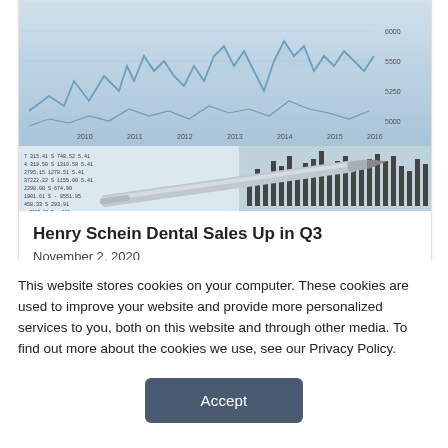[Figure (photo): Financial charts and data — a composite image showing a line chart with years 2010-2016 on x-axis, overlaid with a bar chart, financial data spreadsheet numbers, and a silver pen resting on the documents.]
Henry Schein Dental Sales Up in Q3
November 2, 2020
This website stores cookies on your computer. These cookies are used to improve your website and provide more personalized services to you, both on this website and through other media. To find out more about the cookies we use, see our Privacy Policy.